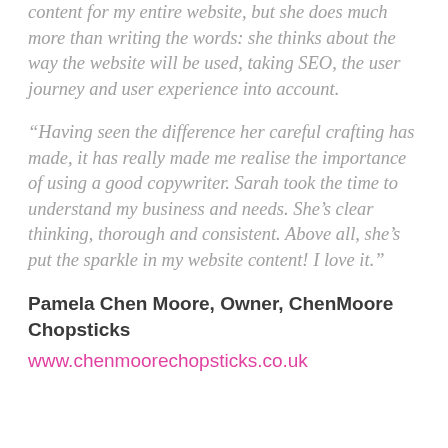content for my entire website, but she does much more than writing the words: she thinks about the way the website will be used, taking SEO, the user journey and user experience into account.
“Having seen the difference her careful crafting has made, it has really made me realise the importance of using a good copywriter. Sarah took the time to understand my business and needs. She’s clear thinking, thorough and consistent. Above all, she’s put the sparkle in my website content! I love it.”
Pamela Chen Moore, Owner, ChenMoore Chopsticks
www.chenmoorechopsticks.co.uk